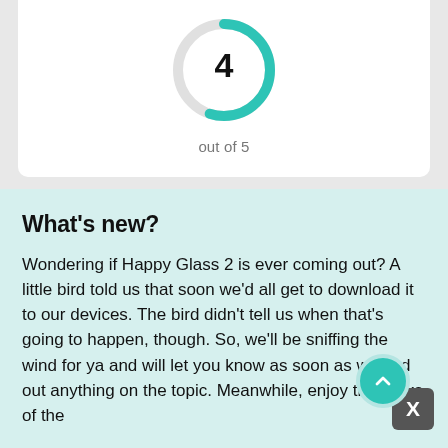[Figure (donut-chart): Donut/ring chart showing a rating of 4 out of 5, with teal arc covering approximately 4/5 of the circle and a light gray gap.]
out of 5
What's new?
Wondering if Happy Glass 2 is ever coming out? A little bird told us that soon we'd all get to download it to our devices. The bird didn't tell us when that's going to happen, though. So, we'll be sniffing the wind for ya and will let you know as soon as we find out anything on the topic. Meanwhile, enjoy the perks of the